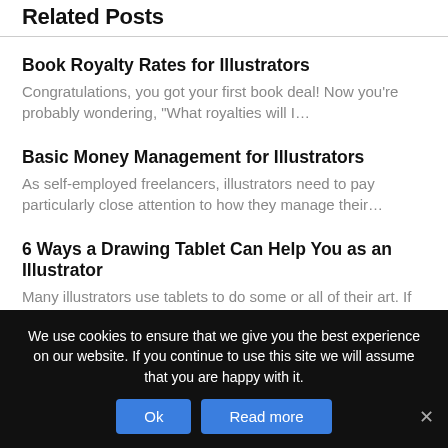Related Posts
Book Royalty Rates for Illustrators
Congratulations, you got your first book deal! Now you're probably wondering, "What royalties will I…
Basic Money Management for Illustrators
As self-employed freelancers, illustrators need to pay particularly close attention to how they manage their…
6 Ways a Drawing Tablet Can Help You as an Illustrator
Many illustrators use tablets to do some or all of their art. If you're new to them, they may seem overwhelming…
We use cookies to ensure that we give you the best experience on our website. If you continue to use this site we will assume that you are happy with it.